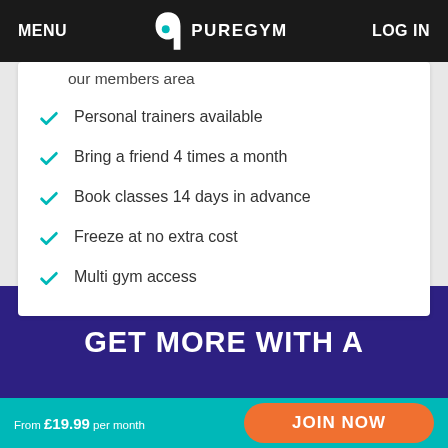MENU | PUREGYM | LOG IN
our members area
Personal trainers available
Bring a friend 4 times a month
Book classes 14 days in advance
Freeze at no extra cost
Multi gym access
GET MORE WITH A
From £19.99 per month
JOIN NOW